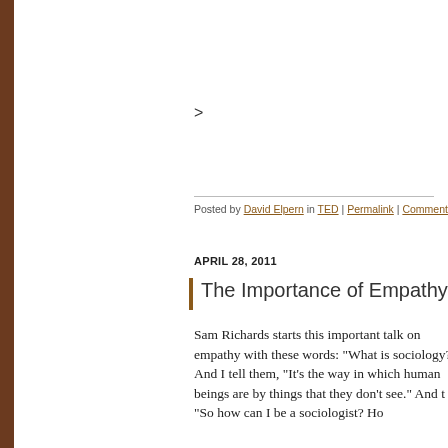>
Posted by David Elpern in TED | Permalink | Comments
APRIL 28, 2011
The Importance of Empathy
Sam Richards starts this important talk on empathy with these words: "What is sociology?" And I tell them, "It's the way in which human beings are by things that they don't see." And t "So how can I be a sociologist? Ho